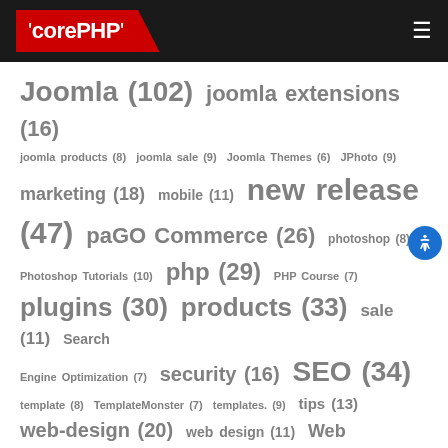[Figure (logo): corePHP logo on dark header with red diagonal background and hamburger menu icon]
Joomla (102) joomla extensions (16) joomla products (8) joomla sale (9) Joomla Themes (6) JPhoto (9) marketing (18) mobile (11) new release (47) paGO Commerce (26) photoshop (8) Photoshop Tutorials (10) php (29) PHP Course (7) plugins (30) products (33) sale (11) Search Engine Optimization (7) security (16) SEO (34) template (8) TemplateMonster (7) templates. (9) tips (13) web-design (20) web design (11) Web Development (10) wordpress (113) WordPress